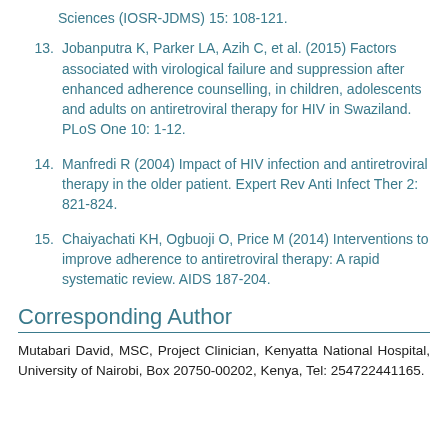Sciences (IOSR-JDMS) 15: 108-121.
13. Jobanputra K, Parker LA, Azih C, et al. (2015) Factors associated with virological failure and suppression after enhanced adherence counselling, in children, adolescents and adults on antiretroviral therapy for HIV in Swaziland. PLoS One 10: 1-12.
14. Manfredi R (2004) Impact of HIV infection and antiretroviral therapy in the older patient. Expert Rev Anti Infect Ther 2: 821-824.
15. Chaiyachati KH, Ogbuoji O, Price M (2014) Interventions to improve adherence to antiretroviral therapy: A rapid systematic review. AIDS 187-204.
Corresponding Author
Mutabari David, MSC, Project Clinician, Kenyatta National Hospital, University of Nairobi, Box 20750-00202, Kenya, Tel: 254722441165.